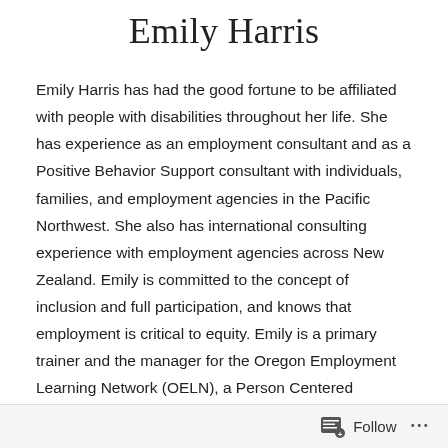Emily Harris
Emily Harris has had the good fortune to be affiliated with people with disabilities throughout her life. She has experience as an employment consultant and as a Positive Behavior Support consultant with individuals, families, and employment agencies in the Pacific Northwest. She also has international consulting experience with employment agencies across New Zealand. Emily is committed to the concept of inclusion and full participation, and knows that employment is critical to equity. Emily is a primary trainer and the manager for the Oregon Employment Learning Network (OELN), a Person Centered Planning facilitator, and teaches the spring quarter of the Clark County Highline Employment
Follow